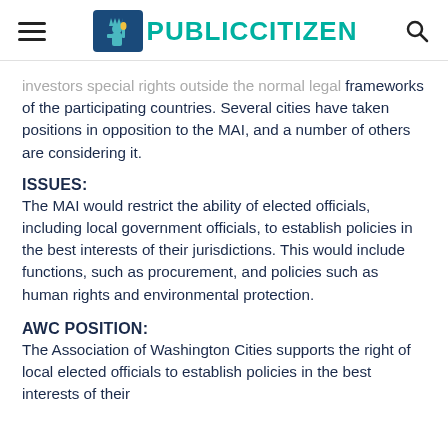PUBLIC CITIZEN
investors special rights outside the normal legal frameworks of the participating countries. Several cities have taken positions in opposition to the MAI, and a number of others are considering it.
ISSUES:
The MAI would restrict the ability of elected officials, including local government officials, to establish policies in the best interests of their jurisdictions. This would include functions, such as procurement, and policies such as human rights and environmental protection.
AWC POSITION:
The Association of Washington Cities supports the right of local elected officials to establish policies in the best interests of their...